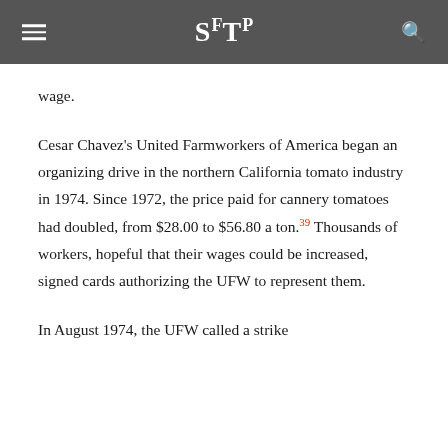SFTP
wage.
Cesar Chavez's United Farmworkers of America began an organizing drive in the northern California tomato industry in 1974. Since 1972, the price paid for cannery tomatoes had doubled, from $28.00 to $56.80 a ton.39 Thousands of workers, hopeful that their wages could be increased, signed cards authorizing the UFW to represent them.
In August 1974, the UFW called a strike